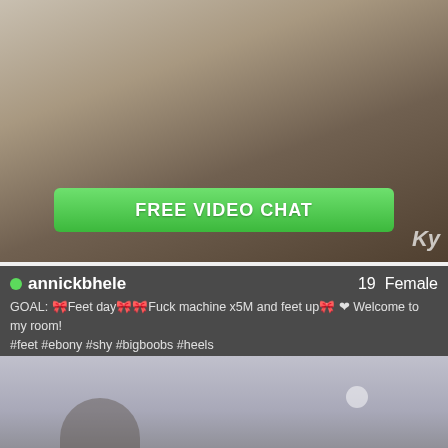[Figure (screenshot): Video thumbnail showing a person on a couch with a green FREE VIDEO CHAT button overlay]
annickbhele  19  Female
GOAL: 🎀Feet day🎀🎀Fuck machine x5M and feet up🎀 ❤ Welcome to my room! #feet #ebony #shy #bigboobs #heels
[Figure (screenshot): Blurred/dark video preview thumbnail at bottom]